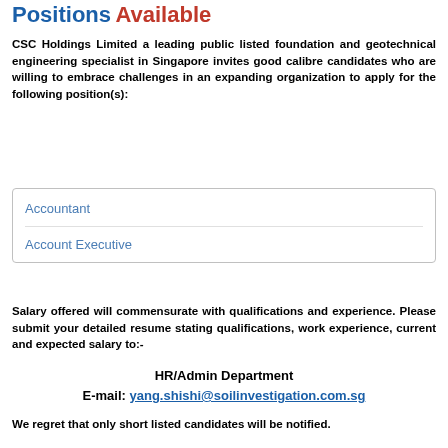Positions Available
CSC Holdings Limited a leading public listed foundation and geotechnical engineering specialist in Singapore invites good calibre candidates who are willing to embrace challenges in an expanding organization to apply for the following position(s):
Accountant
Account Executive
Salary offered will commensurate with qualifications and experience. Please submit your detailed resume stating qualifications, work experience, current and expected salary to:-
HR/Admin Department
E-mail: yang.shishi@soilinvestigation.com.sg
We regret that only short listed candidates will be notified.